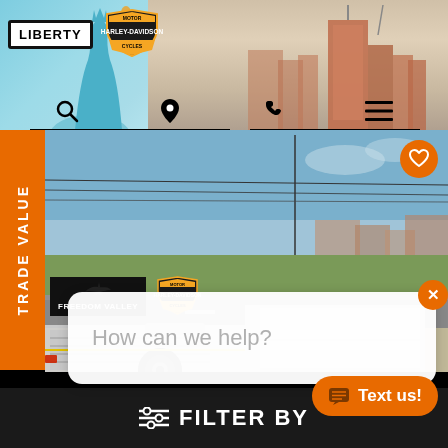[Figure (screenshot): Liberty Harley-Davidson dealership website header with logo, Statue of Liberty graphic, city skyline background, and navigation icons (search, location pin, phone, menu)]
[Figure (photo): Harley-Davidson Freedom Valley dealership sign with motorcycle trailer in foreground, parking lot and road in background, blue sky]
How can we help?
[Figure (screenshot): FILTER BY button bar at bottom of page with orange Text us! chat button]
FILTER BY
Text us!
TRADE VALUE